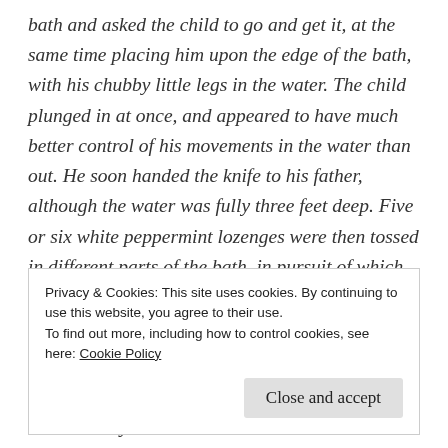bath and asked the child to go and get it, at the same time placing him upon the edge of the bath, with his chubby little legs in the water. The child plunged in at once, and appeared to have much better control of his movements in the water than out. He soon handed the knife to his father, although the water was fully three feet deep. Five or six white peppermint lozenges were then tossed in different parts of the bath, in pursuit of which the child eagerly went, and he was fully three minutes under water endeavouring to secure them, as he dropped them again almost as fast as he picked them up. Finally he turned up head first.
Privacy & Cookies: This site uses cookies. By continuing to use this website, you agree to their use.
To find out more, including how to control cookies, see here: Cookie Policy
Close and accept
like ordinary babies.